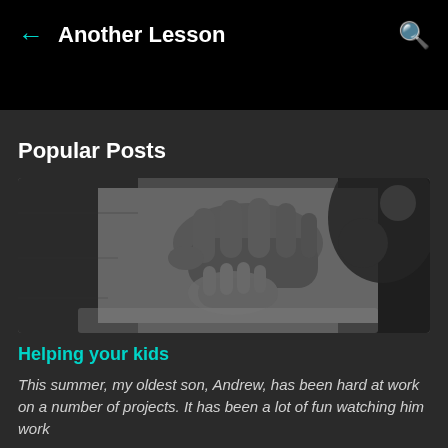← Another Lesson 🔍
Popular Posts
[Figure (photo): Black and white photograph of an adult's weathered hands guiding a child's hands, appearing to work on a pottery wheel or craft project.]
Helping your kids
This summer, my oldest son, Andrew, has been hard at work on a number of projects. It has been a lot of fun watching him work